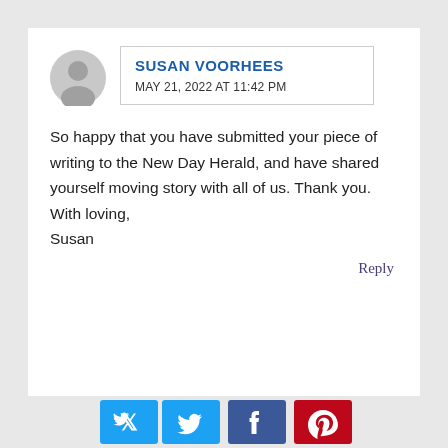SUSAN VOORHEES
MAY 21, 2022 AT 11:42 PM
So happy that you have submitted your piece of writing to the New Day Herald, and have shared yourself moving story with all of us. Thank you.
With loving,
Susan
Reply